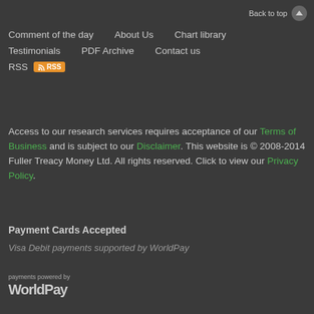Back to top
Comment of the day
About Us
Chart library
Testimonials
PDF Archive
Contact us
RSS
Access to our research services requires acceptance of our Terms of Business and is subject to our Disclaimer. This website is © 2008-2014 Fuller Treacy Money Ltd. All rights reserved. Click to view our Privacy Policy.
Payment Cards Accepted
[Figure (other): Visa Debit payments supported by WorldPay]
payments powered by WorldPay